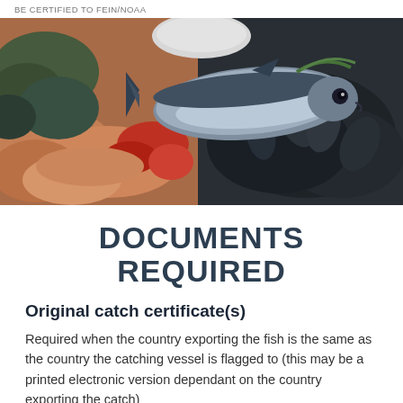BE CERTIFIED TO FEIN/NOAA
[Figure (photo): A colorful assortment of fresh seafood including shrimp, mussels, lobster, and a whole fish (tuna or similar), displayed together in a market-style presentation.]
DOCUMENTS REQUIRED
Original catch certificate(s)
Required when the country exporting the fish is the same as the country the catching vessel is flagged to (this may be a printed electronic version dependant on the country exporting the catch)